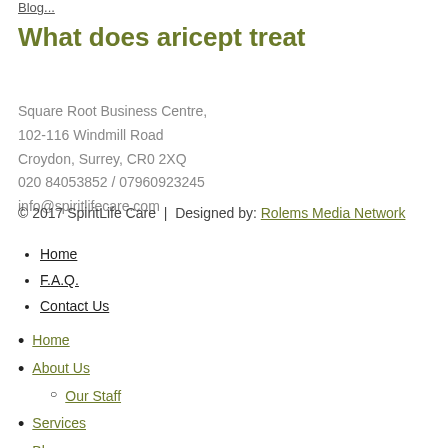Blog...
What does aricept treat
Square Root Business Centre,
102-116 Windmill Road
Croydon, Surrey, CR0 2XQ
020 84053852 / 07960923245
info@spiritlifecare.com
© 2017 SpiritLife Care | Designed by: Rolems Media Network
Home
F.A.Q.
Contact Us
Home
About Us
Our Staff
Services
Blog
Client Testimonials
Contact Us